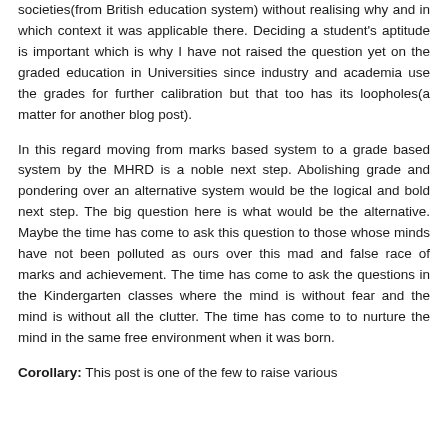societies(from British education system) without realising why and in which context it was applicable there. Deciding a student's aptitude is important which is why I have not raised the question yet on the graded education in Universities since industry and academia use the grades for further calibration but that too has its loopholes(a matter for another blog post).
In this regard moving from marks based system to a grade based system by the MHRD is a noble next step. Abolishing grade and pondering over an alternative system would be the logical and bold next step. The big question here is what would be the alternative. Maybe the time has come to ask this question to those whose minds have not been polluted as ours over this mad and false race of marks and achievement. The time has come to ask the questions in the Kindergarten classes where the mind is without fear and the mind is without all the clutter. The time has come to to nurture the mind in the same free environment when it was born.
Corollary: This post is one of the few to raise various